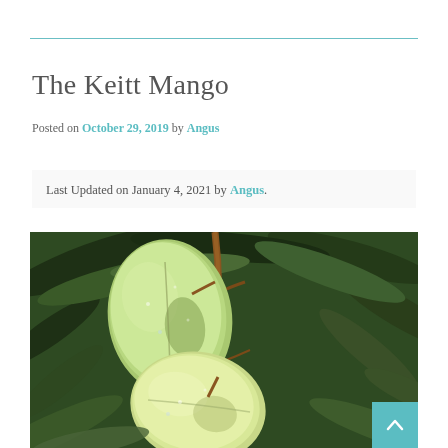The Keitt Mango
Posted on October 29, 2019 by Angus
Last Updated on January 4, 2021 by Angus.
[Figure (photo): Two large green Keitt mangoes hanging from a branch with dark green tropical leaves in the background, wet with rain.]